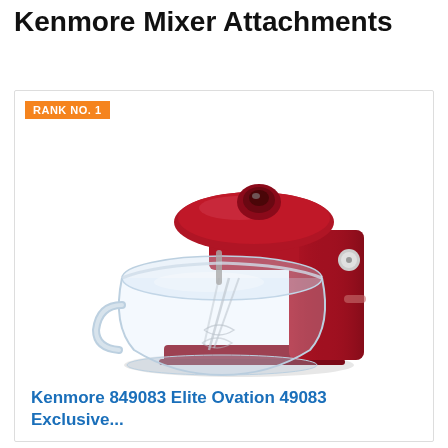Kenmore Mixer Attachments
RANK NO. 1
[Figure (photo): Red Kenmore 849083 Elite Ovation stand mixer with a clear glass bowl and whisk attachment, shown in a product photo on white background.]
Kenmore 849083 Elite Ovation 49083 Exclusive...